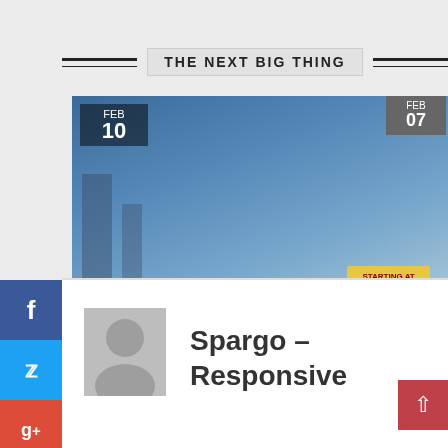THE NEXT BIG THING
[Figure (photo): Blog post thumbnail: HostGator mascot with wind turbines, STARTING AT $4.95/mo pricing badge. Date badge: FEB 10. TUTORIALS category tag.]
Create Free WordPress Blog with HostGator hosting. Discount inside
written by CreateBlog Site
[Figure (other): Partially visible second blog post card with FEB 07 date badge, TUTORIALS tag, and truncated title starting with 'Showing o front pag' and 'written by C']
[Figure (other): Author avatar placeholder (grey silhouette icon)]
Spargo – Responsive
[Figure (other): Social media sidebar with Facebook, Twitter, and Google+ buttons on the left edge]